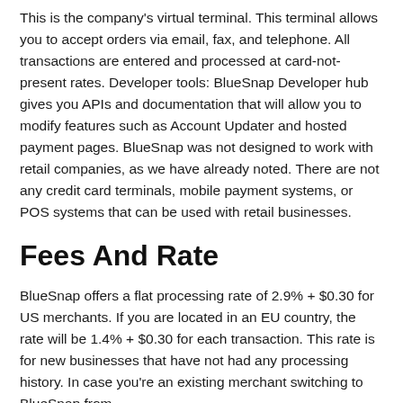This is the company's virtual terminal. This terminal allows you to accept orders via email, fax, and telephone. All transactions are entered and processed at card-not-present rates. Developer tools: BlueSnap Developer hub gives you APIs and documentation that will allow you to modify features such as Account Updater and hosted payment pages. BlueSnap was not designed to work with retail companies, as we have already noted. There are not any credit card terminals, mobile payment systems, or POS systems that can be used with retail businesses.
Fees And Rate
BlueSnap offers a flat processing rate of 2.9% + $0.30 for US merchants. If you are located in an EU country, the rate will be 1.4% + $0.30 for each transaction. This rate is for new businesses that have not had any processing history. In case you're an existing merchant switching to BlueSnap from